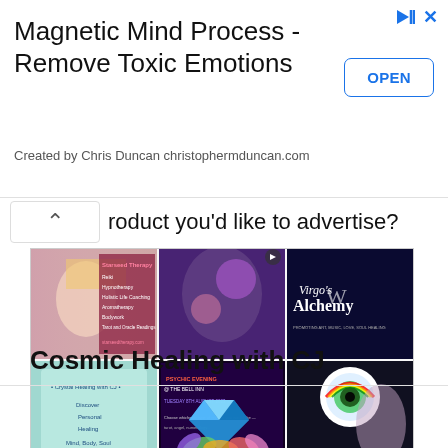[Figure (screenshot): Ad banner: Magnetic Mind Process - Remove Toxic Emotions. Created by Chris Duncan christophermduncan.com. With OPEN button and ad icons top right.]
roduct you'd like to advertise?
[Figure (screenshot): Composite advertising image showing multiple spiritual/wellness service thumbnails including Starseed Therapy, Virgo's Alchemy, Psychic Evening @ The Bell Inn, crystal healing, and Archangelology.com. Text reads: Advertise your services, website, social media page, event, business, products, videos and more on our In5D Network for as little as $1 a day! VISIT in5d.us FOR MORE INFO In5D Vendor Marketplace]
Cosmic Healing with CJ
[Figure (illustration): Colorful geometric gem/diamond logo at bottom of page]